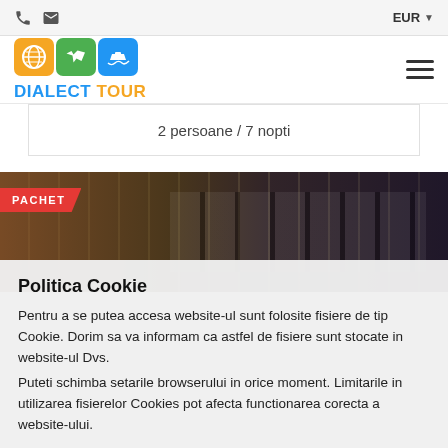EUR
[Figure (logo): Dialect Tour logo with globe, plane, and ship icons in orange, green, and blue rounded squares]
2 persoane / 7 nopti
[Figure (photo): Nighttime photo of a hotel/building exterior with neon signs and illuminated windows; red PACHET badge overlay]
Politica Cookie
Pentru a se putea accesa website-ul sunt folosite fisiere de tip Cookie. Dorim sa va informam ca astfel de fisiere sunt stocate in website-ul Dvs. Puteti schimba setarile browserului in orice moment. Limitarile in utilizarea fisierelor Cookies pot afecta functionarea corecta a website-ului.
Sunt de acord
Nu sunt de acord